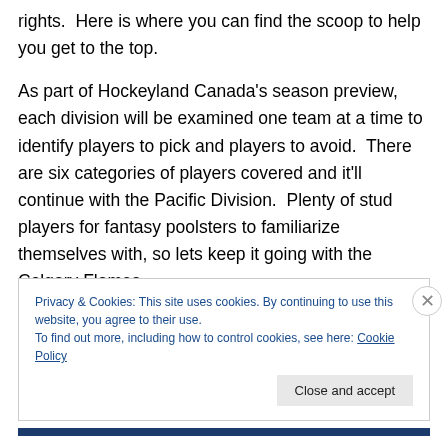rights.  Here is where you can find the scoop to help you get to the top.
As part of Hockeyland Canada's season preview, each division will be examined one team at a time to identify players to pick and players to avoid.  There are six categories of players covered and it'll continue with the Pacific Division.  Plenty of stud players for fantasy poolsters to familiarize themselves with, so lets keep it going with the Calgary Flames.
Privacy & Cookies: This site uses cookies. By continuing to use this website, you agree to their use.
To find out more, including how to control cookies, see here: Cookie Policy
Close and accept